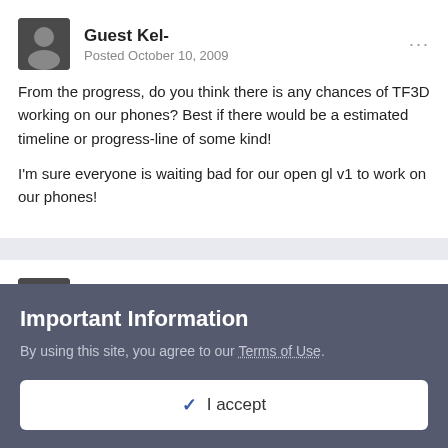Guest Kel-
Posted October 10, 2009
From the progress, do you think there is any chances of TF3D working on our phones? Best if there would be a estimated timeline or progress-line of some kind!

I'm sure everyone is waiting bad for our open gl v1 to work on our phones!
Guest rumkokos
Posted October 10, 2009
Kel- said:
Important Information
By using this site, you agree to our Terms of Use.
I accept